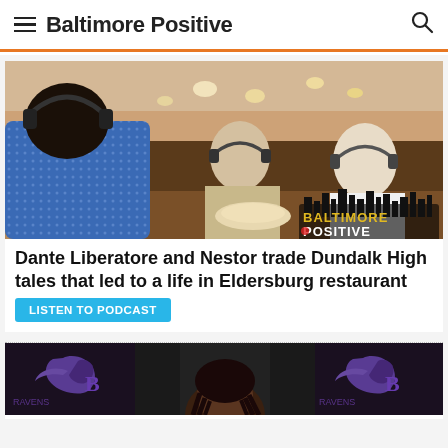Baltimore Positive
[Figure (photo): Three men wearing headphones in a restaurant bar setting doing a podcast recording. A Baltimore Positive logo watermark is visible in the lower right corner of the photo.]
Dante Liberatore and Nestor trade Dundalk High tales that led to a life in Eldersburg restaurant
LISTEN TO PODCAST
[Figure (photo): Partial image of a person at what appears to be a Baltimore Ravens press conference, with Ravens logos and M& visible on the backdrop.]